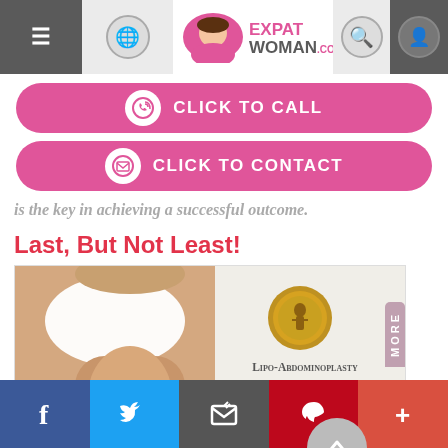[Figure (screenshot): ExpatWoman.com website header with hamburger menu, globe icon, logo, search and user icons]
[Figure (infographic): Pink rounded button with phone icon: CLICK TO CALL]
[Figure (infographic): Pink rounded button with envelope icon: CLICK TO CONTACT]
is the key in achieving a successful outcome.
Last, But Not Least!
[Figure (photo): Woman showing flat stomach with text panel: Lipo-Abdominoplasty Tummy Tuck & Liposuction with medal/seal logo]
[Figure (infographic): Social media footer bar with Facebook, Twitter, Email, Pinterest, and Plus buttons]